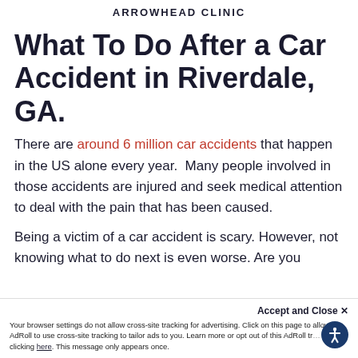ARROWHEAD CLINIC
What To Do After a Car Accident in Riverdale, GA.
There are around 6 million car accidents that happen in the US alone every year.  Many people involved in those accidents are injured and seek medical attention to deal with the pain that has been caused.
Being a victim of a car accident is scary. However, not knowing what to do next is even worse. Are you
Your browser settings do not allow cross-site tracking for advertising. Click on this page to allow AdRoll to use cross-site tracking to tailor ads to you. Learn more or opt out of this AdRoll tracking by clicking here. This message only appears once.